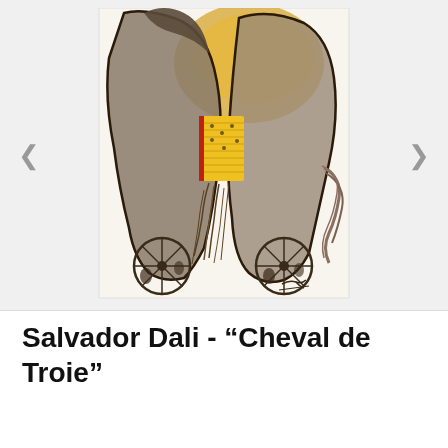[Figure (illustration): Salvador Dali artwork 'Cheval de Troie' — a surrealist lithograph depicting two large horse figures in brown and grey tones with a yellow accordion/book-like object between them, wheels and vegetation at the base, white border with artist's signature at bottom right. Displayed in an image carousel with left and right navigation arrows.]
Salvador Dali - “Cheval de Troie”